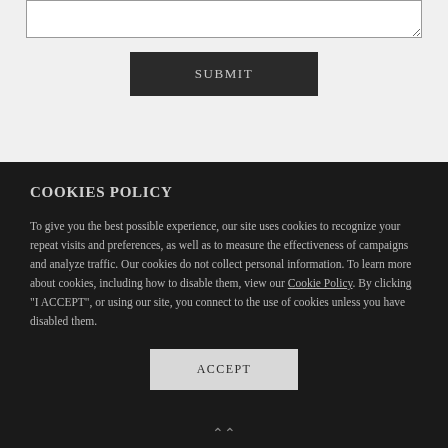[Figure (screenshot): Textarea input field with resize handle at bottom-right corner]
SUBMIT
COOKIES POLICY
To give you the best possible experience, our site uses cookies to recognize your repeat visits and preferences, as well as to measure the effectiveness of campaigns and analyze traffic. Our cookies do not collect personal information. To learn more about cookies, including how to disable them, view our Cookie Policy. By clicking "I ACCEPT", or using our site, you connect to the use of cookies unless you have disabled them.
ACCEPT